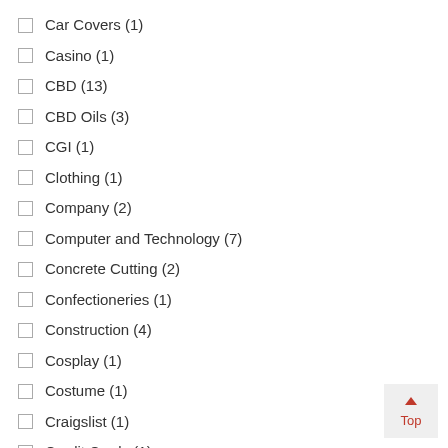Car Covers (1)
Casino (1)
CBD (13)
CBD Oils (3)
CGI (1)
Clothing (1)
Company (2)
Computer and Technology (7)
Concrete Cutting (2)
Confectioneries (1)
Construction (4)
Cosplay (1)
Costume (1)
Craigslist (1)
Credit Cards (1)
Cryptocurrency (4)